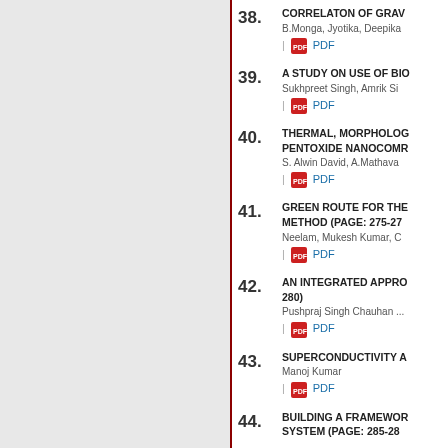38. CORRELATON OF GRAV... B.Monga, Jyotika, Deepika | PDF
39. A STUDY ON USE OF BIO... Sukhpreet Singh, Amrik Si... | PDF
40. THERMAL, MORPHOLOG... PENTOXIDE NANOCOMR... S. Alwin David, A.Mathava... | PDF
41. GREEN ROUTE FOR THE... METHOD (PAGE: 275-27... Neelam, Mukesh Kumar, C... | PDF
42. AN INTEGRATED APPRO... 280) Pushpraj Singh Chauhan ... | PDF
43. SUPERCONDUCTIVITY A... Manoj Kumar | PDF
44. BUILDING A FRAMEWOR... SYSTEM (PAGE: 285-28...